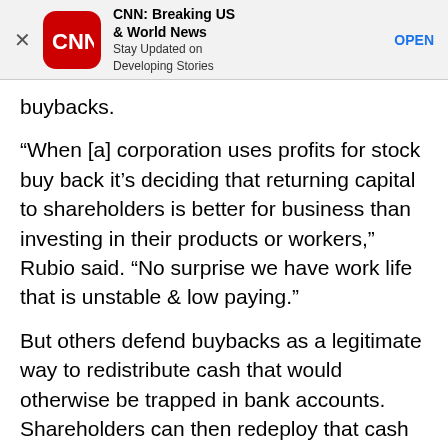[Figure (screenshot): CNN Breaking US & World News app advertisement banner with CNN logo, app name, tagline 'Stay Updated on Developing Stories', and OPEN button]
buybacks.
“When [a] corporation uses profits for stock buy back it’s deciding that returning capital to shareholders is better for business than investing in their products or workers,” Rubio said. “No surprise we have work life that is unstable & low paying.”
But others defend buybacks as a legitimate way to redistribute cash that would otherwise be trapped in bank accounts. Shareholders can then redeploy that cash into the economy and by investing in businesses.
“It’s not like the money disappears,” JPMorgan